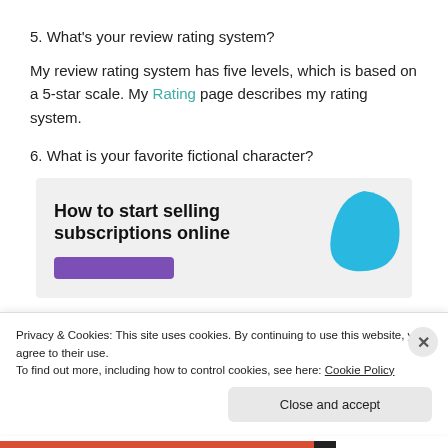5. What's your review rating system?
My review rating system has five levels, which is based on a 5-star scale. My Rating page describes my rating system.
6. What is your favorite fictional character?
[Figure (infographic): Advertisement banner: 'How to start selling subscriptions online' with a blue leaf/feather shape graphic and a purple button below the text.]
Privacy & Cookies: This site uses cookies. By continuing to use this website, you agree to their use.
To find out more, including how to control cookies, see here: Cookie Policy
Close and accept